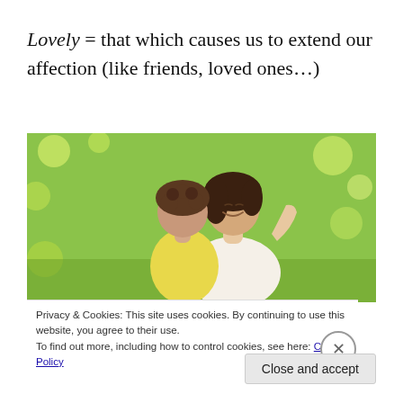Lovely = that which causes us to extend our affection (like friends, loved ones…)
[Figure (photo): A woman smiling with eyes closed being hugged by a child, set against a lush green grass background outdoors. Warm, affectionate scene.]
Privacy & Cookies: This site uses cookies. By continuing to use this website, you agree to their use.
To find out more, including how to control cookies, see here: Cookie Policy
Close and accept